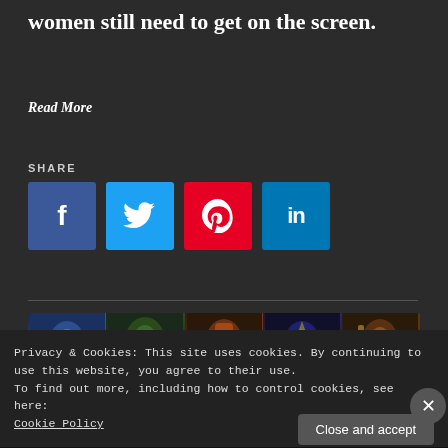women still need to get on the screen.
Read More
SHARE
[Figure (other): Social share buttons: Facebook (f), Twitter (bird), Pinterest (p), LinkedIn (in)]
[Figure (photo): Horizontal strip of 5 Marvel superhero movie poster panels]
Privacy & Cookies: This site uses cookies. By continuing to use this website, you agree to their use.
To find out more, including how to control cookies, see here:
Cookie Policy
Close and accept